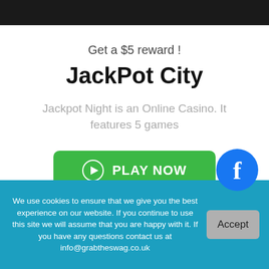Get a $5 reward !
JackPot City
Jackpot Night is an Online Casino. It features 5 games
PLAY NOW
[Figure (illustration): Partial roulette wheel with yellow arc on dark background]
[Figure (logo): Facebook logo in blue circle]
We use cookies to ensure that we give you the best experience on our website. If you continue to use this site we will assume that you are happy with it. If you have any questions contact us at info@grabtheswag.co.uk
Accept